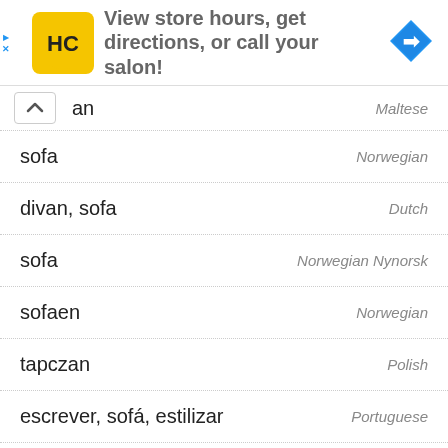[Figure (infographic): Advertisement banner for a hair salon app showing logo (HC in yellow circle), text 'View store hours, get directions, or call your salon!' and a blue navigation arrow icon]
an — Maltese
sofa — Norwegian
divan, sofa — Dutch
sofa — Norwegian Nynorsk
sofaen — Norwegian
tapczan — Polish
escrever, sofá, estilizar — Portuguese
canapea — Romanian
тахта, виражати, кушотка, софа, формулировати — (truncated)